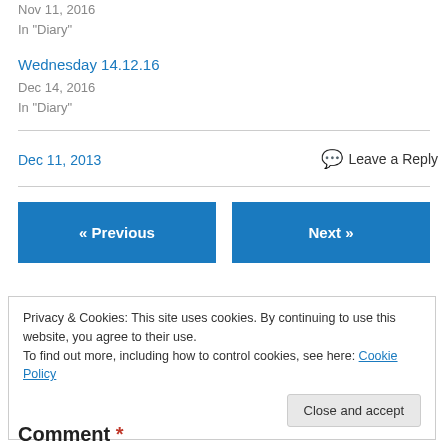Nov 11, 2016
In "Diary"
Wednesday 14.12.16
Dec 14, 2016
In "Diary"
Dec 11, 2013
Leave a Reply
« Previous
Next »
Privacy & Cookies: This site uses cookies. By continuing to use this website, you agree to their use.
To find out more, including how to control cookies, see here: Cookie Policy
Close and accept
Comment *